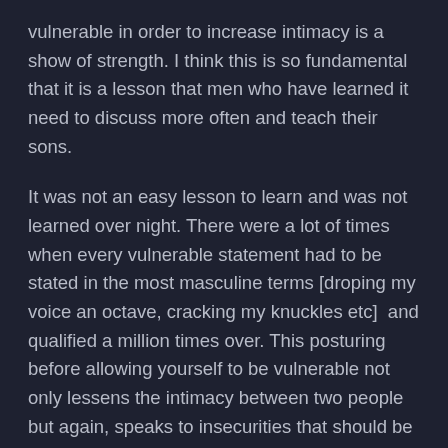vulnerable in order to increase intimacy is a show of strength. I think this is so fundamental that it is a lesson that men who have learned it need to discuss more often and teach their sons.
It was not an easy lesson to learn and was not learned over night. There were a lot of times when every vulnerable statement had to be stated in the most masculine terms [droping my voice an octave, cracking my knuckles etc]  and qualified a million times over. This posturing before allowing yourself to be vulnerable not only lessens the intimacy between two people but again, speaks to insecurities that should be worked out.
Now my more mature, almost emotionally adult, self views intentional vulnerability as attractive because I